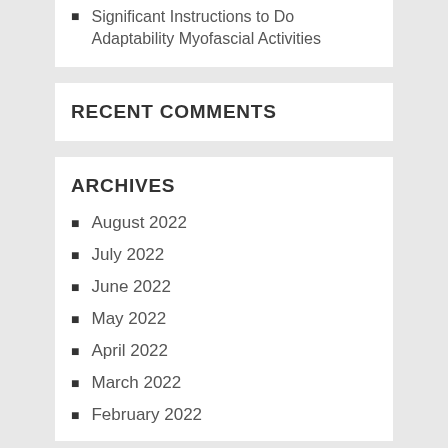Significant Instructions to Do Adaptability Myofascial Activities
RECENT COMMENTS
ARCHIVES
August 2022
July 2022
June 2022
May 2022
April 2022
March 2022
February 2022